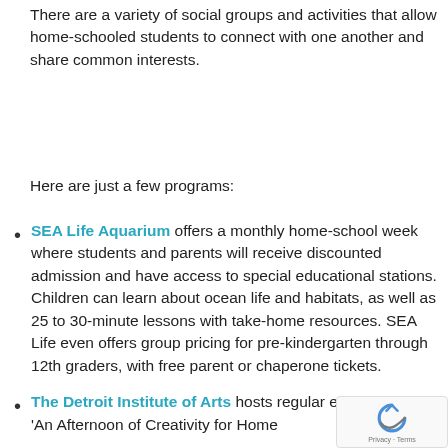There are a variety of social groups and activities that allow home-schooled students to connect with one another and share common interests.
Here are just a few programs:
SEA Life Aquarium offers a monthly home-school week where students and parents will receive discounted admission and have access to special educational stations. Children can learn about ocean life and habitats, as well as 25 to 30-minute lessons with take-home resources. SEA Life even offers group pricing for pre-kindergarten through 12th graders, with free parent or chaperone tickets.
The Detroit Institute of Arts hosts regular events featuring 'An Afternoon of Creativity for Home...